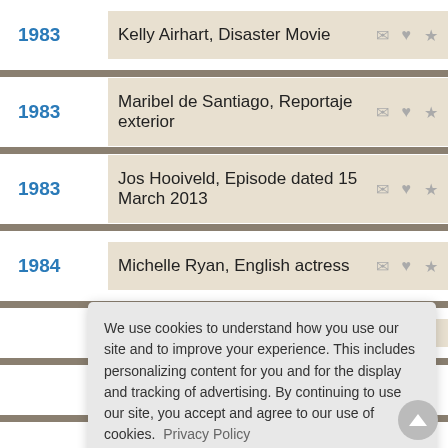1983 — Kelly Airhart, Disaster Movie
1983 — Maribel de Santiago, Reportaje exterior
1983 — Jos Hooiveld, Episode dated 15 March 2013
1984 — Michelle Ryan, English actress
We use cookies to understand how you use our site and to improve your experience. This includes personalizing content for you and for the display and tracking of advertising. By continuing to use our site, you accept and agree to our use of cookies. Privacy Policy
Got it!